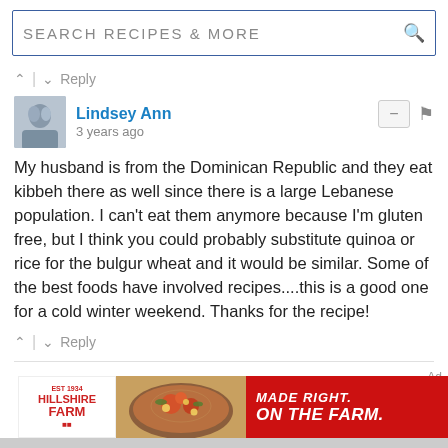SEARCH RECIPES & MORE
^ | v  Reply
Lindsey Ann
3 years ago
My husband is from the Dominican Republic and they eat kibbeh there as well since there is a large Lebanese population. I can't eat them anymore because I'm gluten free, but I think you could probably substitute quinoa or rice for the bulgur wheat and it would be similar. Some of the best foods have involved recipes....this is a good one for a cold winter weekend. Thanks for the recipe!
^ | v  Reply
Subscribe   Do Not Sell My Data
[Figure (screenshot): Hillshire Farm advertisement banner: logo on white background, food image, red background with text MADE RIGHT. ON THE FARM.]